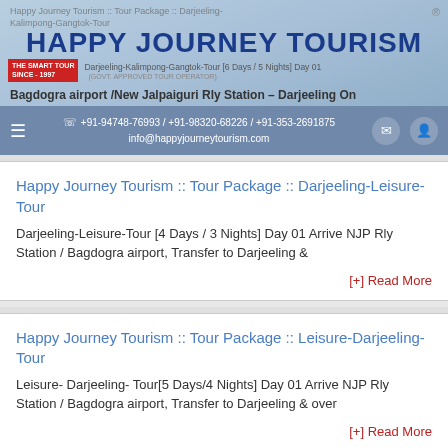Happy Journey Tourism :: Tour Package :: Darjeeling-Kalimpong-Gangtok-Tour
HAPPY JOURNEY TOURISM
Darjeeling-Kalimpong-Gangtok-Tour [6 Days / 5 Nights] Day 01 Bagdogra airport /New Jalpaiguri Rly Station – Darjeeling On
☏ +91-94748-76993 / +91-98320-68226 / +91-353-2691875
info@happyjourneytourism.com
Happy Journey Tourism :: Tour Package :: Darjeeling-Leisure-Tour
Darjeeling-Leisure-Tour [4 Days / 3 Nights] Day 01 Arrive NJP Rly Station / Bagdogra airport, Transfer to Darjeeling &
[+] Read More
Happy Journey Tourism :: Tour Package :: Leisure-Darjeeling-Tour
Leisure- Darjeeling- Tour[5 Days/4 Nights] Day 01 Arrive NJP Rly Station / Bagdogra airport, Transfer to Darjeeling & over
[+] Read More
Happy Journey Tourism :: Tour Package ::Kalimpong-